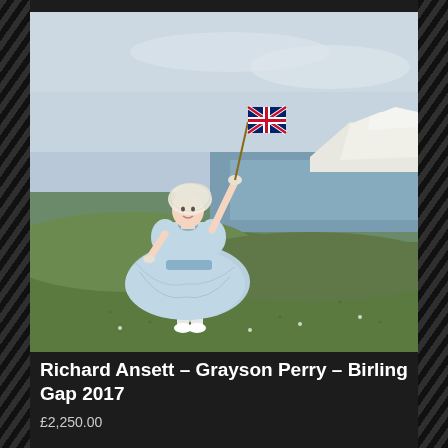[Figure (photo): A person dressed in a light blue vintage-style puff-sleeve dress with white socks and white shoes, waving a Union Jack flag. They wear a white lace bonnet. Standing on a green clifftop with white chalk cliffs and sea in the background (Birling Gap, East Sussex). Sky is overcast grey-blue.]
Richard Ansett – Grayson Perry – Birling Gap 2017
£2,250.00